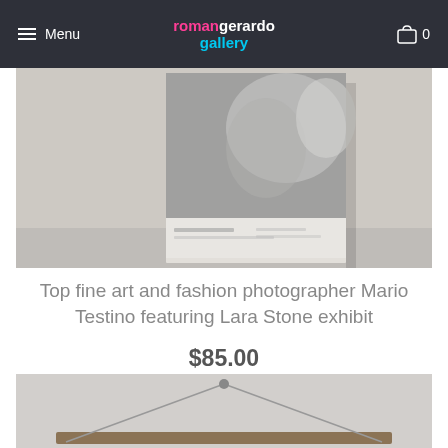Menu | roman gerardo gallery | 0
[Figure (photo): Photo of a Mario Testino art book/exhibition catalog showing Lara Stone, displayed against a light wall]
Top fine art and fashion photographer Mario Testino featuring Lara Stone exhibit
$85.00
[Figure (photo): Photo of a framed artwork hanging on a wall with a wire/string hanger visible, showing the back of the frame]